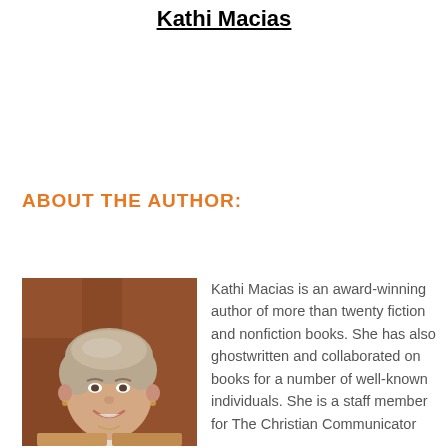Kathi Macias
ABOUT THE AUTHOR:
[Figure (photo): Photo of Kathi Macias, a smiling woman with short gray-blonde hair, wearing a tan jacket, photographed against a warm reddish-brown background.]
Kathi Macias is an award-winning author of more than twenty fiction and nonfiction books. She has also ghostwritten and collaborated on books for a number of well-known individuals. She is a staff member for The Christian Communicator